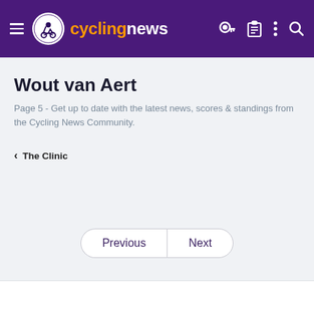cyclingnews
Wout van Aert
Page 5 - Get up to date with the latest news, scores & standings from the Cycling News Community.
< The Clinic
Previous  Next